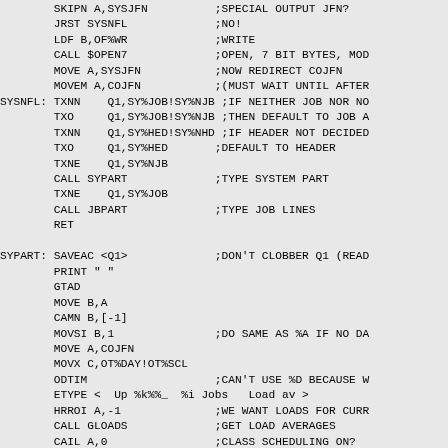Assembly language source code listing with labels SYSNFL and SYPART, including instructions SKIPN, JRST, LDF, CALL, MOVE, MOVEM, TXNN, TXO, TXNE, CALL, RET, SAVEAC, PRINT, GTAD, CAMN, MOVSI, MOVX, ODTIM, ETYPE, HRROI, CAIL with comments about special output JFN, write, open, redirect COJFN, job/header defaults, type system part, type job lines, don't clobber Q1, do same as %A if no data, can't use %D, we want loads, get load averages, class scheduling on.